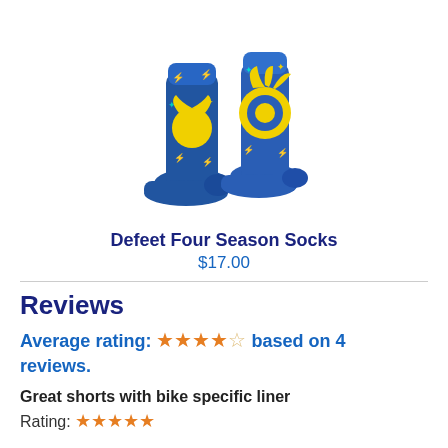[Figure (photo): Blue socks with yellow lightning bolt and sun design (Defeet Four Season Socks), shown as a pair from the side/back angle]
Defeet Four Season Socks
$17.00
Reviews
Average rating: ★★★★☆ based on 4 reviews.
Great shorts with bike specific liner
Rating: ★★★★★